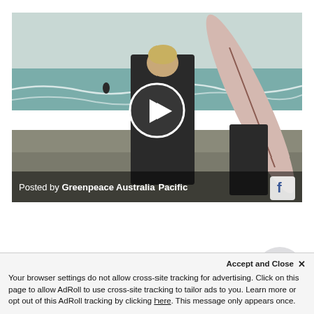[Figure (screenshot): A video thumbnail showing a woman in a black wetsuit holding a pink surfboard on a beach with a child beside her and ocean waves in the background. A circular play button is overlaid in the center. At the bottom of the image is a dark bar reading 'Posted by Greenpeace Australia Pacific' with a Facebook icon on the right.]
Your browser settings do not allow cross-site tracking for advertising. Click on this page to allow AdRoll to use cross-site tracking to tailor ads to you. Learn more or opt out of this AdRoll tracking by clicking here. This message only appears once.